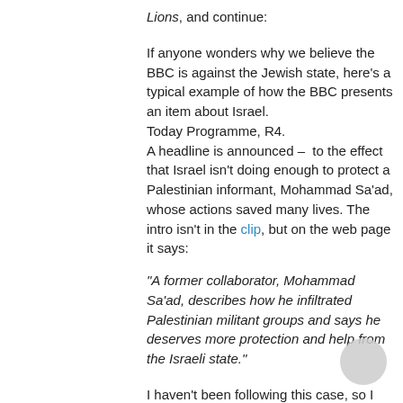Lions, and continue:
If anyone wonders why we believe the BBC is against the Jewish state, here’s a typical example of how the BBC presents an item about Israel.
Today Programme, R4.
 A headline is announced –  to the effect that Israel isn’t doing enough to protect a Palestinian informant, Mohammad Sa’ad, whose actions saved many lives. The intro isn’t in the clip, but on the web page it says:
“A former collaborator, Mohammad Sa’ad, describes how he infiltrated Palestinian militant groups and says he deserves more protection and help from the Israeli state.”
I haven’t been following this case, so I come to it anew. I put myself in the position of your average disinterested bystander.
Good grief, we think, disinterestedly, Israel is heartless and unappreciative. Fancy not protecting someone who ought to be their  hero.